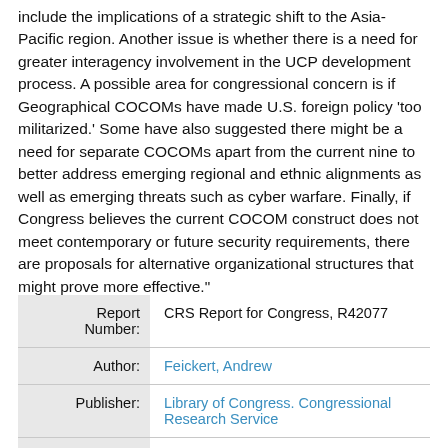include the implications of a strategic shift to the Asia-Pacific region. Another issue is whether there is a need for greater interagency involvement in the UCP development process. A possible area for congressional concern is if Geographical COCOMs have made U.S. foreign policy 'too militarized.' Some have also suggested there might be a need for separate COCOMs apart from the current nine to better address emerging regional and ethnic alignments as well as emerging threats such as cyber warfare. Finally, if Congress believes the current COCOM construct does not meet contemporary or future security requirements, there are proposals for alternative organizational structures that might prove more effective."
| Field | Value |
| --- | --- |
| Report Number: | CRS Report for Congress, R42077 |
| Author: | Feickert, Andrew |
| Publisher: | Library of Congress. Congressional Research Service |
| Date: | 2012-07-17 |